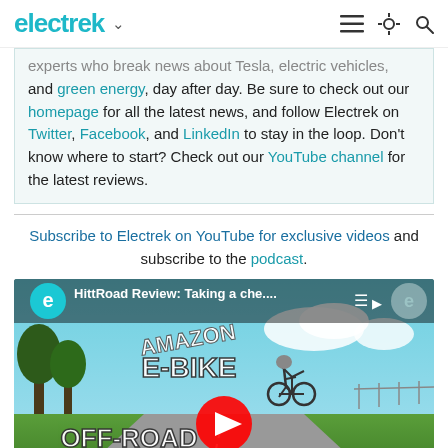electrek
experts who break news about Tesla, electric vehicles, and green energy, day after day. Be sure to check out our homepage for all the latest news, and follow Electrek on Twitter, Facebook, and LinkedIn to stay in the loop. Don't know where to start? Check out our YouTube channel for the latest reviews.
Subscribe to Electrek on YouTube for exclusive videos and subscribe to the podcast.
[Figure (screenshot): YouTube video embed showing HittRoad Review: Taking a che... - Amazon E-Bike Off-Road, with a person riding a bicycle outdoors, play button overlay, Electrek channel logo.]